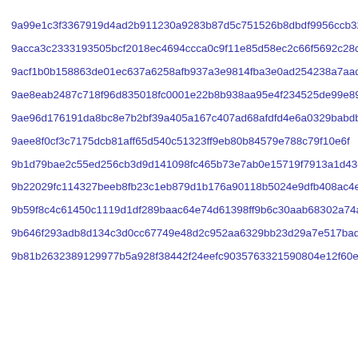9a99e1c3f3367919d4ad2b911230a9283b87d5c751526b8dbdf9956ccb32...
9acca3c2333193505bcf2018ec4694ccca0c9f11e85d58ec2c66f5692c28c...
9acf1b0b158863de01ec637a6258afb937a3e9814fba3e0ad254238a7aadb...
9ae8eab2487c718f96d835018fc0001e22b8b938aa95e4f234525de99e895...
9ae96d176191da8bc8e7b2bf39a405a167c407ad68afdfd4e6a0329babdb8...
9aee8f0cf3c7175dcb81aff65d540c51323ff9eb80b84579e788c79f10e6f...
9b1d79bae2c55ed256cb3d9d141098fc465b73e7ab0e15719f7913a1d43c4...
9b22029fc114327beeb8fb23c1eb879d1b176a90118b5024e9dfb408ac4ef...
9b59f8c4c61450c1119d1df289baac64e74d61398ff9b6c30aab68302a74a...
9b646f293adb8d134c3d0cc67749e48d2c952aa6329bb23d29a7e517badea...
9b81b2632891299775a928f38442f24eefc9035763321590804e12f60efb...